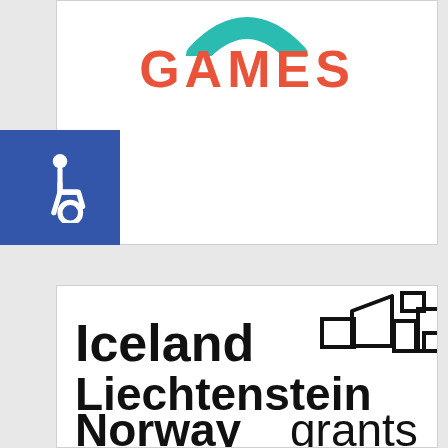[Figure (logo): Top card with GAMES text in coral/red and teal arc logo above, plus blue wheelchair accessibility icon on left side]
[Figure (logo): Iceland Liechtenstein Norway grants logo with bar chart icon on right side]